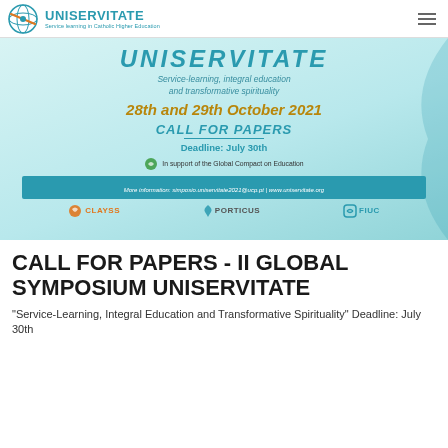UNISERVITATE — Service learning in Catholic Higher Education
[Figure (infographic): Conference banner for II Global Symposium UNISERVITATE showing title UNISERVITATE, subtitle 'Service-learning, integral education and transformative spirituality', date '28th and 29th October 2021', CALL FOR PAPERS heading, Deadline: July 30th, Global Compact on Education logo, contact/website info bar, and partner logos CLAYSS, PORTICUS, FIUC]
CALL FOR PAPERS - II GLOBAL SYMPOSIUM UNISERVITATE
"Service-Learning, Integral Education and Transformative Spirituality" Deadline: July 30th